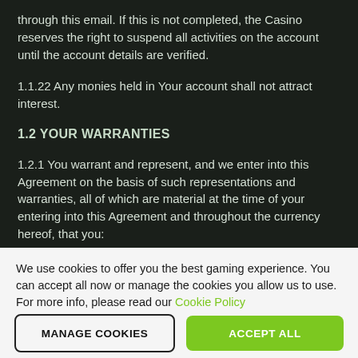through this email. If this is not completed, the Casino reserves the right to suspend all activities on the account until the account details are verified.
1.1.22 Any monies held in Your account shall not attract interest.
1.2 YOUR WARRANTIES
1.2.1 You warrant and represent, and we enter into this Agreement on the basis of such representations and warranties, all of which are material at the time of your entering into this Agreement and throughout the currency hereof, that you:
We use cookies to offer you the best gaming experience. You can accept all now or manage the cookies you allow us to use. For more info, please read our Cookie Policy
MANAGE COOKIES
ACCEPT ALL